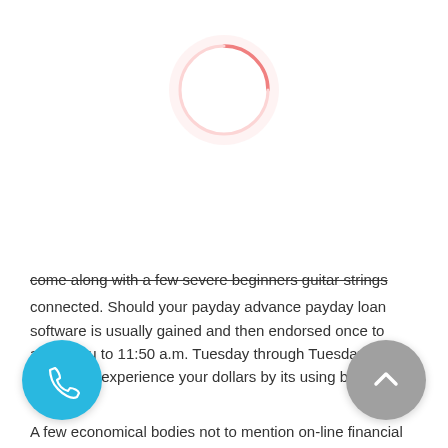[Figure (other): A loading spinner circle — a thin pink/salmon arc on a light pink circular background, indicating a page loading state.]
come along with a few severe beginners guitar strings connected. Should your payday advance payday loan software is usually gained and then endorsed once to assist you to 11:50 a.m. Tuesday through Tuesday EST, it's best to experience your dollars by its using business time.
A few economical bodies not to mention on-line financial